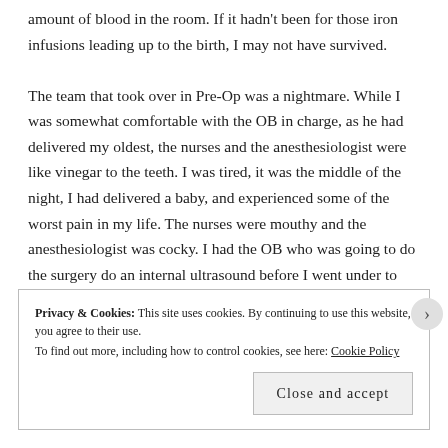amount of blood in the room. If it hadn't been for those iron infusions leading up to the birth, I may not have survived.

The team that took over in Pre-Op was a nightmare. While I was somewhat comfortable with the OB in charge, as he had delivered my oldest, the nurses and the anesthesiologist were like vinegar to the teeth. I was tired, it was the middle of the night, I had delivered a baby, and experienced some of the worst pain in my life. The nurses were mouthy and the anesthesiologist was cocky. I had the OB who was going to do the surgery do an internal ultrasound before I went under to confirm that the procedure was necessary. I remember looking at the screen on the machine
Privacy & Cookies: This site uses cookies. By continuing to use this website, you agree to their use.
To find out more, including how to control cookies, see here: Cookie Policy

Close and accept